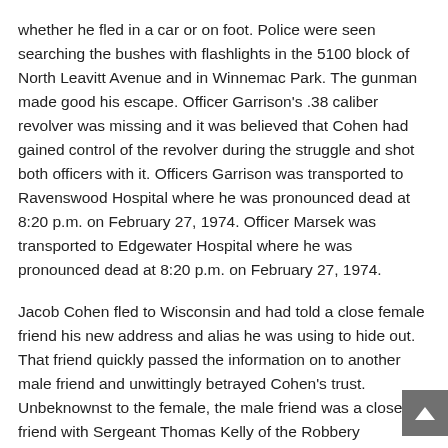whether he fled in a car or on foot. Police were seen searching the bushes with flashlights in the 5100 block of North Leavitt Avenue and in Winnemac Park. The gunman made good his escape. Officer Garrison's .38 caliber revolver was missing and it was believed that Cohen had gained control of the revolver during the struggle and shot both officers with it. Officers Garrison was transported to Ravenswood Hospital where he was pronounced dead at 8:20 p.m. on February 27, 1974. Officer Marsek was transported to Edgewater Hospital where he was pronounced dead at 8:20 p.m. on February 27, 1974.
Jacob Cohen fled to Wisconsin and had told a close female friend his new address and alias he was using to hide out. That friend quickly passed the information on to another male friend and unwittingly betrayed Cohen's trust. Unbeknownst to the female, the male friend was a close friend with Sergeant Thomas Kelly of the Robbery